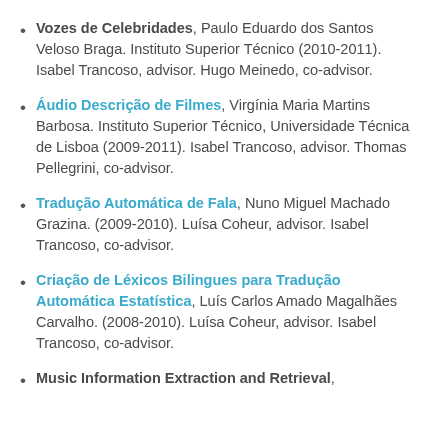Vozes de Celebridades, Paulo Eduardo dos Santos Veloso Braga. Instituto Superior Técnico (2010-2011). Isabel Trancoso, advisor. Hugo Meinedo, co-advisor.
Áudio Descrição de Filmes, Virgínia Maria Martins Barbosa. Instituto Superior Técnico, Universidade Técnica de Lisboa (2009-2011). Isabel Trancoso, advisor. Thomas Pellegrini, co-advisor.
Tradução Automática de Fala, Nuno Miguel Machado Grazina. (2009-2010). Luísa Coheur, advisor. Isabel Trancoso, co-advisor.
Criação de Léxicos Bilingues para Tradução Automática Estatística, Luís Carlos Amado Magalhães Carvalho. (2008-2010). Luísa Coheur, advisor. Isabel Trancoso, co-advisor.
Music Information Extraction and Retrieval,